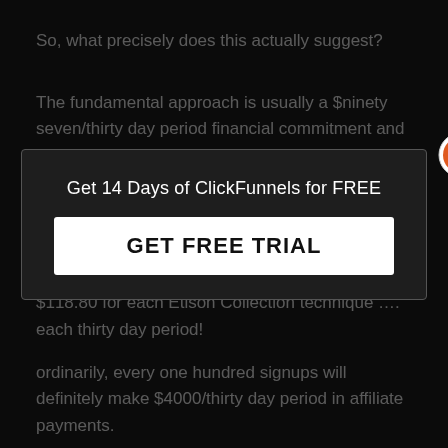So, what precisely does this actually suggest?
The fundamental approach is usually a $ninety seven/thirty day period financial commitment and also the Etison Suite strategy is a $297/month expense.
because of every fundamental plan and also $118.80 for each Etison Collection technique …. each thirty day period!
ordinarily, every one hundred signups will definitely make $4000/thirty day period in affiliate payments.
[Figure (other): Popup overlay with 'Get 14 Days of ClickFunnels for FREE' title and 'GET FREE TRIAL' button, with orange X close button in top right corner]